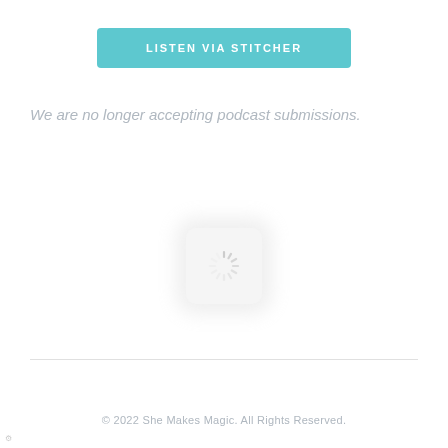[Figure (other): Teal/turquoise button labeled LISTEN VIA STITCHER]
We are no longer accepting podcast submissions.
[Figure (other): Loading spinner icon inside a rounded white/light-gray square with soft shadow]
© 2022 She Makes Magic. All Rights Reserved.